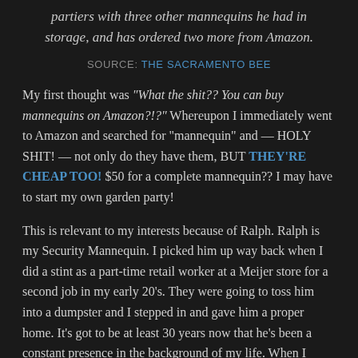partiers with three other mannequins he had in storage, and has ordered two more from Amazon.
SOURCE: THE SACRAMENTO BEE
My first thought was "What the shit?? You can buy mannequins on Amazon?!?" Whereupon I immediately went to Amazon and searched for "mannequin" and — HOLY SHIT! — not only do they have them, BUT THEY'RE CHEAP TOO! $50 for a complete mannequin?? I may have to start my own garden party!
This is relevant to my interests because of Ralph. Ralph is my Security Mannequin. I picked him up way back when I did a stint as a part-time retail worker at a Meijer store for a second job in my early 20's. They were going to toss him into a dumpster and I stepped in and gave him a proper home. It's got to be at least 30 years now that he's been a constant presence in the background of my life. When I moved into the apartment in Canton back in 1998 he sat on the half-wall that separated the stairway up from the front door from the living room area. He wears one of